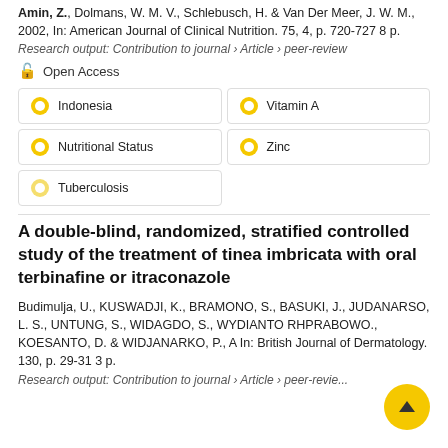Amin, Z., Dolmans, W. M. V., Schlebusch, H. & Van Der Meer, J. W. M., 2002, In: American Journal of Clinical Nutrition. 75, 4, p. 720-727 8 p.
Research output: Contribution to journal › Article › peer-review
Open Access
Indonesia
Vitamin A
Nutritional Status
Zinc
Tuberculosis
A double-blind, randomized, stratified controlled study of the treatment of tinea imbricata with oral terbinafine or itraconazole
Budimulja, U., KUSWADJI, K., BRAMONO, S., BASUKI, J., JUDANARSO, L. S., UNTUNG, S., WIDAGDO, S., WYDIANTO RHPRABOWO., KOESANTO, D. & WIDJANARKO, P., A In: British Journal of Dermatology. 130, p. 29-31 3 p.
Research output: Contribution to journal › Article › peer-review